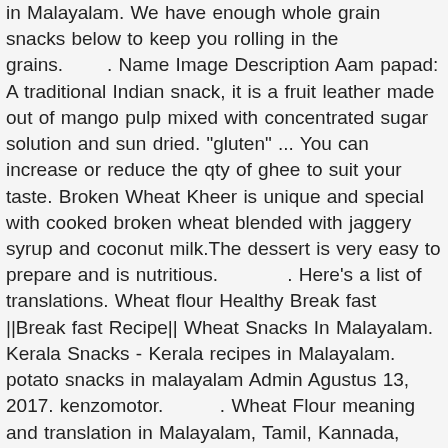in Malayalam. We have enough whole grain snacks below to keep you rolling in the grains.        . Name Image Description Aam papad: A traditional Indian snack, it is a fruit leather made out of mango pulp mixed with concentrated sugar solution and sun dried. "gluten" ... You can increase or reduce the qty of ghee to suit your taste. Broken Wheat Kheer is unique and special with cooked broken wheat blended with jaggery syrup and coconut milk.The dessert is very easy to prepare and is nutritious.             . Here's a list of translations. Wheat flour Healthy Break fast ||Break fast Recipe|| Wheat Snacks In Malayalam. Kerala Snacks - Kerala recipes in Malayalam. potato snacks in malayalam Admin Agustus 13, 2017. kenzomotor.          . Wheat Flour meaning and translation in Malayalam, Tamil, Kannada, Telugu, Hindi, Bengali, Gujarati, Marati, Oriya and Punjabi | Pachakam.com Song; Instrumental; Tamil. This video is unavailable. Bread Snack. What's the Malayalam word for wheat? :   - 1   - 1/2 .Wheat flour Snack. Use * for blank tiles (max 2) Advanced Search Advanced Search: Use * for blank spaces Advanced Search: Advanced Word Finder: See Also in English. For a